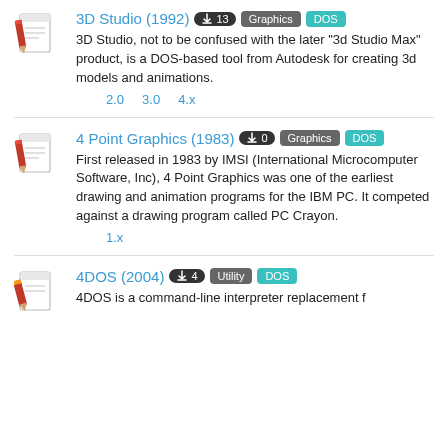3D Studio (1992) · Downloads: 13 · Graphics · DOS
3D Studio, not to be confused with the later "3d Studio Max" product, is a DOS-based tool from Autodesk for creating 3d models and animations.
Versions: 2.0, 3.0, 4.x
4 Point Graphics (1983) · Downloads: 0 · Graphics · DOS
First released in 1983 by IMSI (International Microcomputer Software, Inc), 4 Point Graphics was one of the earliest drawing and animation programs for the IBM PC. It competed against a drawing program called PC Crayon.
Versions: 1.x
4DOS (2004) · Downloads: 4 · Utility · DOS
4DOS is...